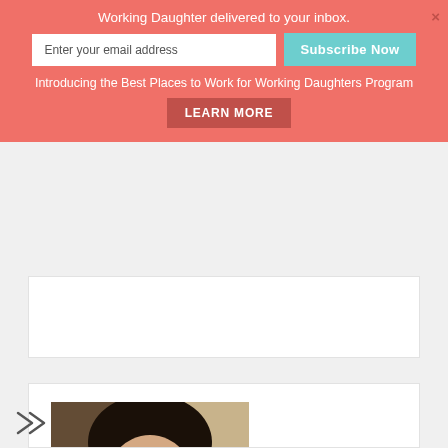Working Daughter delivered to your inbox.
Enter your email address
Subscribe Now
Introducing the Best Places to Work for Working Daughters Program
LEARN MORE
[Figure (photo): Portrait photo of a smiling woman with dark hair wearing a black and white chevron top with a blue and white inner top and a gold necklace, photographed outdoors against a stone wall background.]